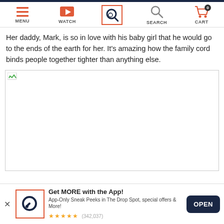MENU | WATCH | SEARCH (active) | SEARCH | CART (0)
Her daddy, Mark, is so in love with his baby girl that he would go to the ends of the earth for her. It’s amazing how the family cord binds people together tighter than anything else.
[Figure (photo): Broken/unloaded image placeholder with a small green image icon in top-left corner]
Get MORE with the App! App-Only Sneak Peeks in The Drop Spot, special offers & More! ★★★★★ (342,037)